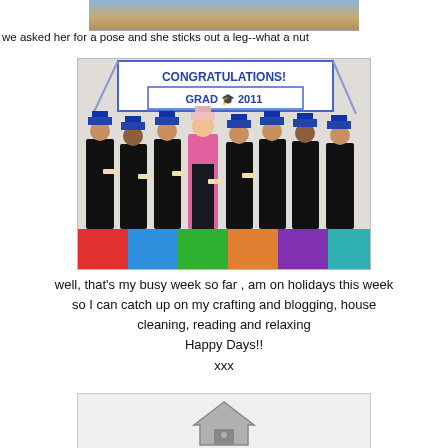[Figure (photo): Top portion of a photo showing a child posing, partially cropped at top of page]
we asked her for a pose and she sticks out a leg--what a nut
[Figure (photo): Group photo of young children dressed in graduation gowns and blue caps, standing in a line in front of a 'CONGRATULATIONS! GRAD 2011' banner. One child in the center is wearing a pink floral dress instead of a gown.]
well, that's my busy week so far , am on holidays this week so I can catch up on my crafting and blogging, house cleaning, reading and relaxing
Happy Days!!
xxx
[Figure (other): Partial view of a blog widget or badge with a house/home icon, partially visible at the bottom of the page]